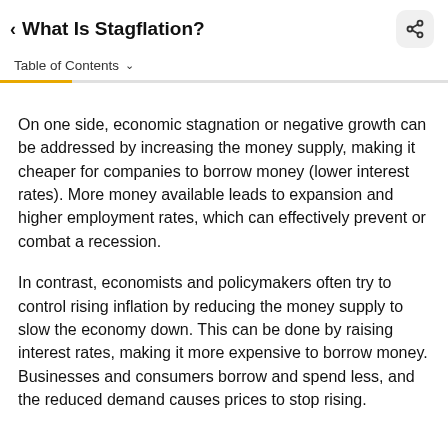< What Is Stagflation?
Table of Contents
On one side, economic stagnation or negative growth can be addressed by increasing the money supply, making it cheaper for companies to borrow money (lower interest rates). More money available leads to expansion and higher employment rates, which can effectively prevent or combat a recession.
In contrast, economists and policymakers often try to control rising inflation by reducing the money supply to slow the economy down. This can be done by raising interest rates, making it more expensive to borrow money. Businesses and consumers borrow and spend less, and the reduced demand causes prices to stop rising.